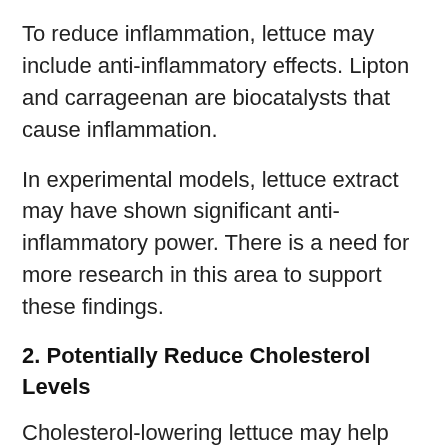To reduce inflammation, lettuce may include anti-inflammatory effects. Lipton and carrageenan are biocatalysts that cause inflammation.
In experimental models, lettuce extract may have shown significant anti-inflammatory power. There is a need for more research in this area to support these findings.
2. Potentially Reduce Cholesterol Levels
Cholesterol-lowering lettuce may help reduce the risk of cardiovascular disease (CVD) and other harmful disorders.